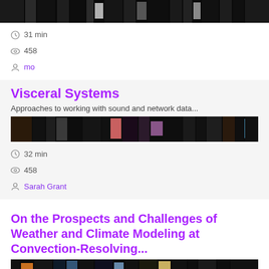[Figure (screenshot): Thumbnail strip of a video/presentation, dark pixelated frames]
31 min
458
mo
Visceral Systems
Approaches to working with sound and network data...
[Figure (screenshot): Thumbnail strip of a video/presentation, dark colorful pixelated frames]
32 min
458
Sarah Grant
On the Prospects and Challenges of Weather and Climate Modeling at Convection-Resolving...
[Figure (screenshot): Thumbnail strip of a video/presentation, dark frames with orange and blue tones]
62 min
402